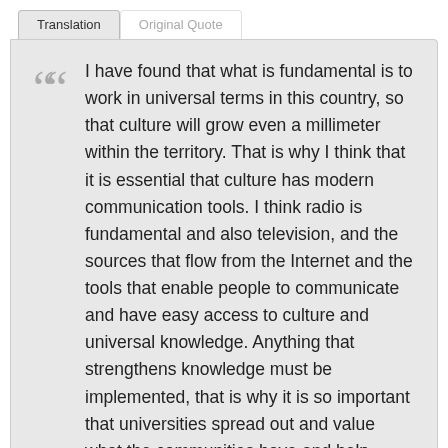Translation | Original Quote
I have found that what is fundamental is to work in universal terms in this country, so that culture will grow even a millimeter within the territory. That is why I think that it is essential that culture has modern communication tools. I think radio is fundamental and also television, and the sources that flow from the Internet and the tools that enable people to communicate and have easy access to culture and universal knowledge. Anything that strengthens knowledge must be implemented, that is why it is so important that universities spread out and value what the communities have and help develop it. It is not necessary to press people out of where they are, but instead reach them there and so be able to ignite the wreath of development.